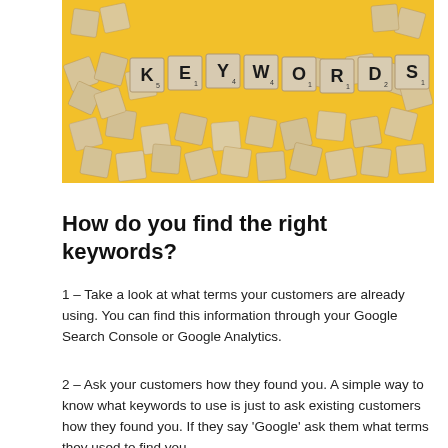[Figure (photo): Scrabble letter tiles spelling KEYWORDS on a yellow background, surrounded by scattered wooden tiles]
How do you find the right keywords?
1 – Take a look at what terms your customers are already using. You can find this information through your Google Search Console or Google Analytics.
2 – Ask your customers how they found you. A simple way to know what keywords to use is just to ask existing customers how they found you. If they say 'Google' ask them what terms they used to find you.